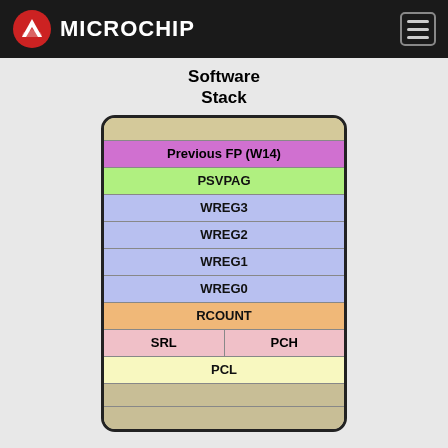Microchip
[Figure (schematic): Software Stack diagram showing a stack of labeled memory/register rows: Previous FP (W14) in purple, PSVPAG in green, WREG3/WREG2/WREG1/WREG0 in lavender/blue, RCOUNT in orange, SRL and PCH split row in pink, PCL in yellow, and two tan empty rows at top and bottom.]
Interrupts can occur at any time and could corrupt the variables used in your main program.